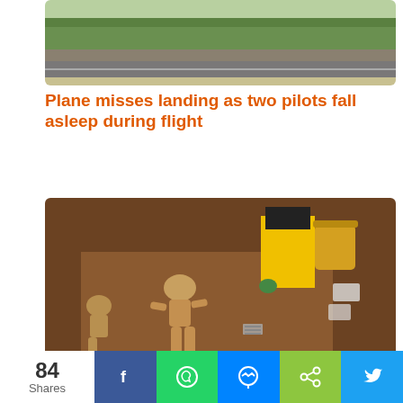[Figure (photo): Aerial or ground-level view of an airfield with green fields and a runway visible]
Plane misses landing as two pilots fall asleep during flight
[Figure (photo): Archaeological excavation showing medieval skeletons being uncovered by a worker in yellow high-visibility clothing, with tools and bags nearby]
Medieval monks were riddled with worms, study finds
84 Shares